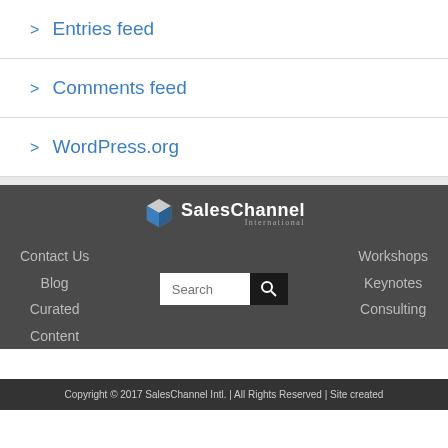> Entries feed
> Comments feed
> WordPress.org
[Figure (logo): SalesChannel International logo with cube icon]
Contact Us
Blog
Curated
Content
Workshops
Keynotes
Consulting
Copyright © 2017 SalesChannel Intl. | All Rights Reserved | Site created